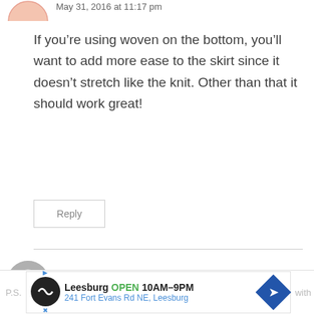May 31, 2016 at 11:17 pm
If you’re using woven on the bottom, you’ll want to add more ease to the skirt since it doesn’t stretch like the knit. Other than that it should work great!
Reply
Karen says:
April 26, 2016 at 10:26 am
P.S.
[Figure (infographic): Advertisement banner: Leesburg OPEN 10AM–9PM, 241 Fort Evans Rd NE, Leesburg with navigation arrow icon]